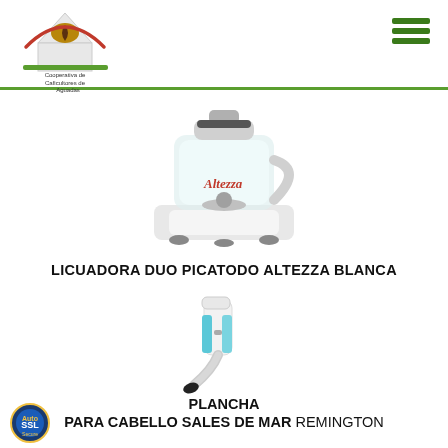Cooperativa de Caficultores de Aguadas
[Figure (photo): White Altezza blender/food chopper appliance - Licuadora Duo Picatodo Altezza Blanca]
LICUADORA DUO PICATODO ALTEZZA BLANCA
[Figure (photo): White and blue Remington hair straightener - Plancha para cabello Sales de Mar]
PLANCHA PARA CABELLO SALES DE MAR REMINGTON